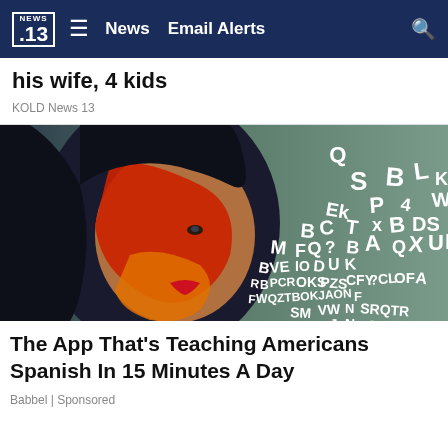NEWS .13  ≡  News  Email Alerts  🔍
his wife, 4 kids
KOLD News 13
[Figure (photo): Woman's face with red and orange paint, surrounded by scattered white letters on a teal/grey background. Letters include S, B, L, Q, Ek, P, 4, W, K, C, T, B, DS, M, FQ, ?, B, A, QXU, F, B, VE, IO, D, U, K, R, PCR, B, OKS, PZS, CFY, ?CL, OF, A, F, W, QZTBOKJAON, F, SM, VW, NSRQTR, J, N, VC, M]
The App That's Teaching Americans Spanish In 15 Minutes A Day
Babbel | Sponsored